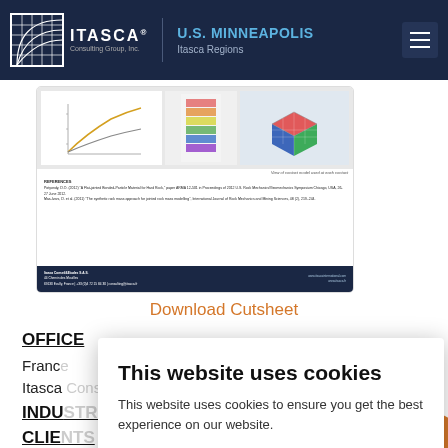U.S. MINNEAPOLIS | Itasca Regions
[Figure (screenshot): Document preview card showing graphs, a 3D model visualization, references section, and a dark footer bar with contact details for Itasca Conseil&Etudes S.A.S.]
Download Cutsheet
OFFICE
Franc[e]
Itasca[...]
INDU[STRIES]
CLIE[NTS]
Cathi[...]
LOCA[TION]
This website uses cookies
This website uses cookies to ensure you get the best experience on our website.
COOKIE POLICY
OK